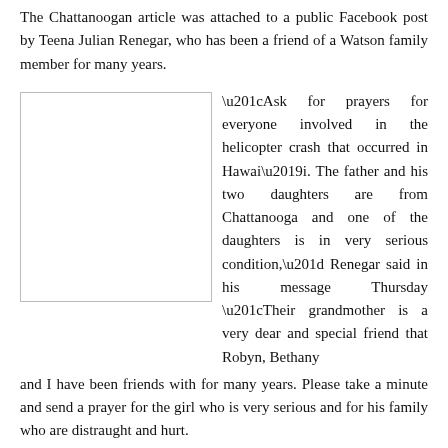The Chattanoogan article was attached to a public Facebook post by Teena Julian Renegar, who has been a friend of a Watson family member for many years.
[Figure (photo): Empty image placeholder with border, floated left]
“Ask for prayers for everyone involved in the helicopter crash that occurred in Hawai’i. The father and his two daughters are from Chattanooga and one of the daughters is in very serious condition,” Renegar said in his message Thursday “Their grandmother is a very dear and special friend that Robyn, Bethany and I have been friends with for many years. Please take a minute and send a prayer for the girl who is very serious and for his family who are distraught and hurt.
THE ARTICLE CONTINUES UNDER THE AD
Elle St. Charles Prime also asked in a public Facebook post on Thursday for prayers for the Watson family.